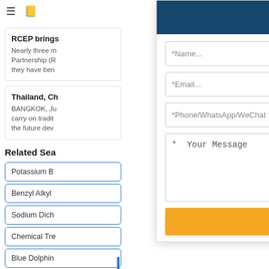☰  📋
RCEP brings
Nearly three m Partnership (R they have ben
Thailand, Ch
BANGKOK, Ju carry on tradit the future dev
Related Sea
Potassium B
Benzyl Alkyl
Sodium Dich
Chemical Tre
Blue Dolphin
Get the data sheet or free quote
*Name...
*Email...
*Phone/WhatsApp/WeChat
*  Your Message
Send
X